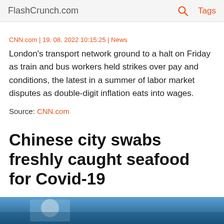FlashCrunch.com | Tags
CNN.com | 19. 08. 2022 10:15:25 | News
London's transport network ground to a halt on Friday as train and bus workers held strikes over pay and conditions, the latest in a summer of labor market disputes as double-digit inflation eats into wages.
Source: CNN.com
Chinese city swabs freshly caught seafood for Covid-19
[Figure (photo): Partial photo strip at bottom of page, showing a person, blue tones]